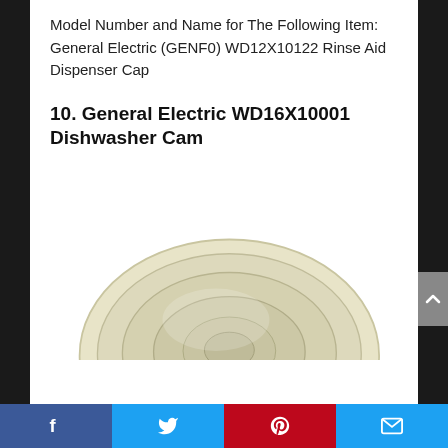Model Number and Name for The Following Item: General Electric (GENF0) WD12X10122 Rinse Aid Dispenser Cap
10. General Electric WD16X10001 Dishwasher Cam
[Figure (photo): Photo of a cream/off-white circular dishwasher cam component viewed from above, showing concentric rings and a small hole in the center]
Social sharing bar: Facebook, Twitter, Pinterest, Email